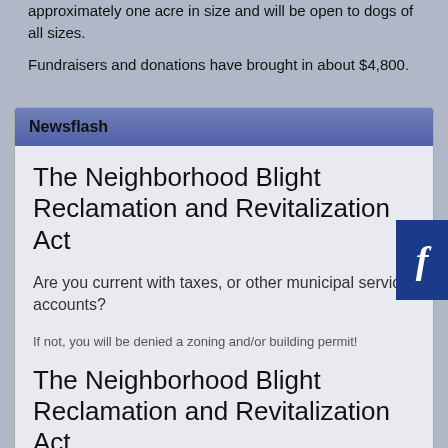approximately one acre in size and will be open to dogs of all sizes.
Fundraisers and donations have brought in about $4,800.
Newsflash
The Neighborhood Blight Reclamation and Revitalization Act
Are you current with taxes, or other municipal service accounts?
If not, you will be denied a zoning and/or building permit!
The Neighborhood Blight Reclamation and Revitalization Act
Read more ...
**ATTENTION**
Any Borough or Water-Authority maintenance employee that would approach your home for any reason will have a visible I.D. and a Borough vehicle with